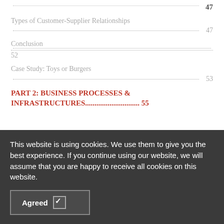............................ 47
Types of Customer-Supplier Relationships ................................................. 47
Conclusion ............................................................................
52
Case Study: Toys or Burgers ............................................................. 53
PART 2: BUSINESS PROCESSES & INFRASTRUCTURES............................. 55
This website is using cookies. We use them to give you the best experience. If you continue using our website, we will assume that you are happy to receive all cookies on this website.